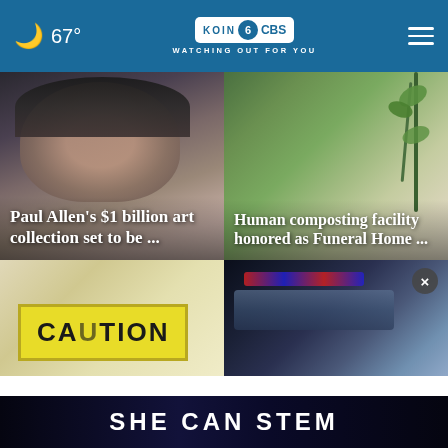🌙 67° | KOIN 6 CBS WATCHING OUT FOR YOU
[Figure (photo): Close-up of an older man wearing a Portland Trail Blazers cap and glasses, overlaid with white bold text reading 'Paul Allen’s $1 billion art collection set to be ...']
[Figure (photo): Photo of green plant shoots and leaves with bokeh background, overlaid with white bold text reading 'Human composting facility honored as Funeral Home ...']
[Figure (photo): Caution sign (yellow) with text 'CAUTION' visible, partially cropped]
[Figure (photo): Police vehicle with flashing red/blue lights on roof, dark background, with a close button (x) visible]
SHE CAN STEM